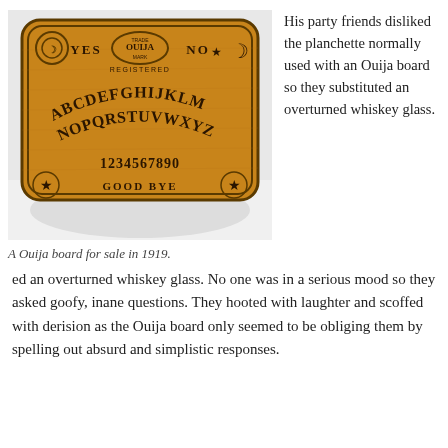[Figure (photo): A wooden Ouija board for sale in 1919, showing YES, NO, TRADE MARK OUIJA REGISTERED, alphabet letters ABCDEFGHIJKLM and NOPQRSTUVWXYZ, numbers 1234567890, and GOOD BYE with star symbols in corners.]
A Ouija board for sale in 1919.
His party friends disliked the planchette normally used with an Ouija board so they substituted an overturned whiskey glass. No one was in a serious mood so they asked goofy, inane questions. They hooted with laughter and scoffed with derision as the Ouija board only seemed to be obliging them by spelling out absurd and simplistic responses.